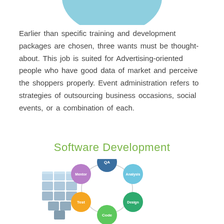[Figure (illustration): Partial light blue ellipse/circle at top of page with the word 'business' visible in white text, cropped at top]
Earlier than specific training and development packages are chosen, three wants must be thought-about. This job is suited for Advertising-oriented people who have good data of market and perceive the shoppers properly. Event administration refers to strategies of outsourcing business occasions, social events, or a combination of each.
Software Development
[Figure (illustration): 3D blue-grey metallic building blocks on the left side, and a circular software development lifecycle diagram on the right with labeled phases: QA (dark blue), Analysis (light blue), Design (green), Code (green), Test (orange), Mentor (purple), connected by a circular path with small dot connectors]